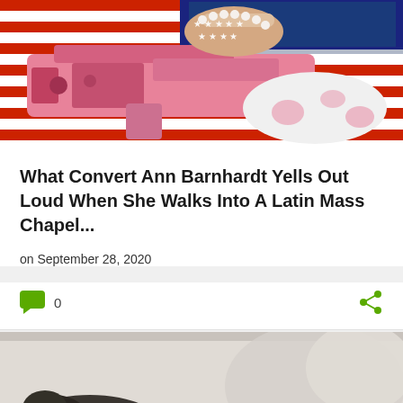[Figure (photo): Photo of a pink AR-style rifle held by a woman's hand with bracelets, against an American flag background]
What Convert Ann Barnhardt Yells Out Loud When She Walks Into A Latin Mass Chapel...
on September 28, 2020
[Figure (photo): Partial photo showing a dark object against a light/gray background, bottom card image]